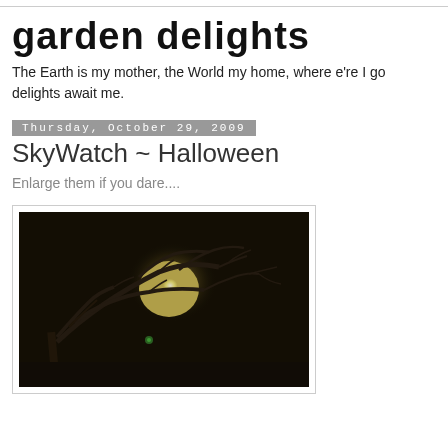garden delights
The Earth is my mother, the World my home, where e're I go delights await me.
Thursday, October 29, 2009
SkyWatch ~ Halloween
Enlarge them if you dare....
[Figure (photo): Night sky photograph showing a glowing full moon partially obscured by bare tree branches against a dark background, with a small green light visible near the lower center.]